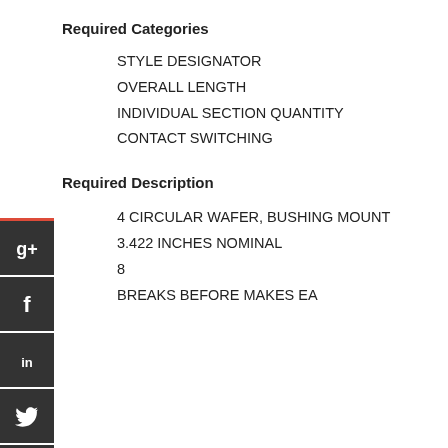Required Categories
STYLE DESIGNATOR
OVERALL LENGTH
INDIVIDUAL SECTION QUANTITY
CONTACT SWITCHING
Required Description
4 CIRCULAR WAFER, BUSHING MOUNT
3.422 INCHES NOMINAL
8
BREAKS BEFORE MAKES EA